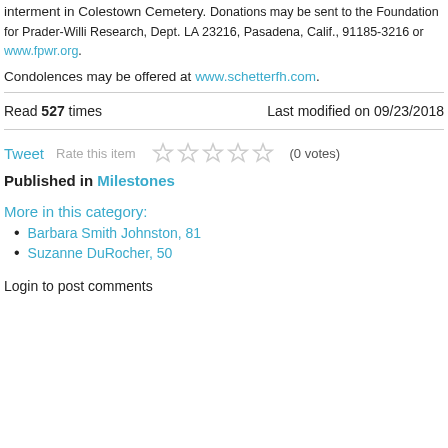interment in Colestown Cemetery. Donations may be sent to the Foundation for Prader-Willi Research, Dept. LA 23216, Pasadena, Calif., 91185-3216 or www.fpwr.org.
Condolences may be offered at www.schetterfh.com.
Read 527 times    Last modified on 09/23/2018
Tweet   Rate this item  (0 votes)
Published in Milestones
More in this category:
Barbara Smith Johnston, 81
Suzanne DuRocher, 50
Login to post comments